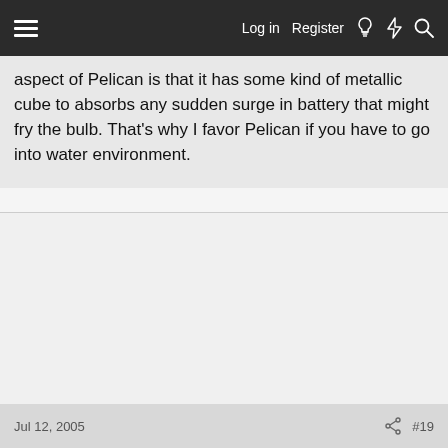Log in   Register
aspect of Pelican is that it has some kind of metallic cube to absorbs any sudden surge in battery that might fry the bulb. That's why I favor Pelican if you have to go into water environment.
Jul 12, 2005   #19